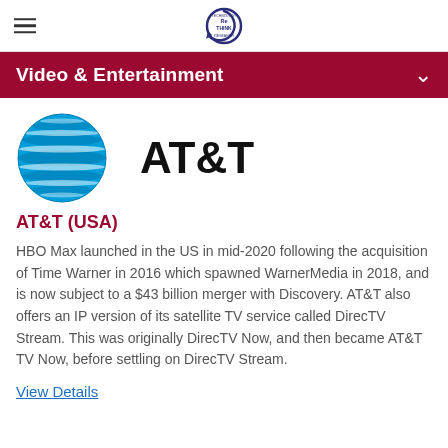ReTHINK Technology Research logo and navigation
Video & Entertainment
[Figure (logo): AT&T logo with blue globe and AT&T wordmark]
AT&T (USA)
HBO Max launched in the US in mid-2020 following the acquisition of Time Warner in 2016 which spawned WarnerMedia in 2018, and is now subject to a $43 billion merger with Discovery. AT&T also offers an IP version of its satellite TV service called DirecTV Stream. This was originally DirecTV Now, and then became AT&T TV Now, before settling on DirecTV Stream.
View Details